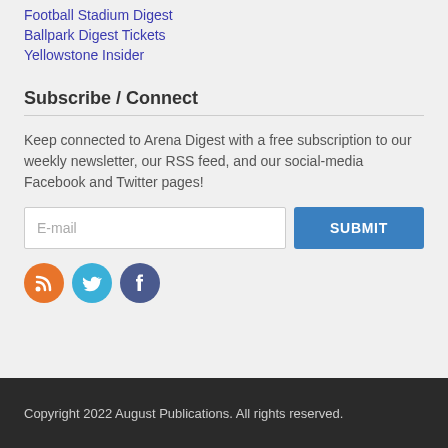Football Stadium Digest
Ballpark Digest Tickets
Yellowstone Insider
Subscribe / Connect
Keep connected to Arena Digest with a free subscription to our weekly newsletter, our RSS feed, and our social-media Facebook and Twitter pages!
[Figure (other): Email subscription form with E-mail input field and SUBMIT button]
[Figure (other): Social media icons: RSS (orange), Twitter (light blue), Facebook (dark blue)]
Copyright 2022 August Publications. All rights reserved.